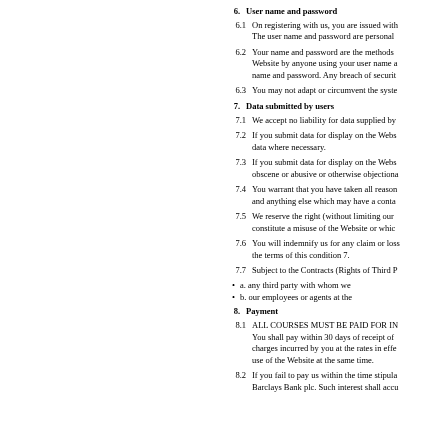6. User name and password
6.1 On registering with us, you are issued with a user name and password. The user name and password are personal
6.2 Your name and password are the methods used to identify you. Access to the Website by anyone using your user name and password shall be treated as use of that user name and password. Any breach of security
6.3 You may not adapt or circumvent the syste
7. Data submitted by users
7.1 We accept no liability for data supplied by
7.2 If you submit data for display on the Website, we reserve the right to edit data where necessary.
7.3 If you submit data for display on the Website, you must not submit data that is obscene or abusive or otherwise objectiona
7.4 You warrant that you have taken all reason and anything else which may have a conta
7.5 We reserve the right (without limiting our constitute a misuse of the Website or whic
7.6 You will indemnify us for any claim or loss arising from any breach by you of the terms of this condition 7.
7.7 Subject to the Contracts (Rights of Third P
a. any third party with whom we
b. our employees or agents at the
8. Payment
8.1 ALL COURSES MUST BE PAID FOR IN ADVANCE. You shall pay within 30 days of receipt of invoice or for charges incurred by you at the rates in effect at the time of your use of the Website at the same time.
8.2 If you fail to pay us within the time stipulated, interest shall accrue at a rate set by Barclays Bank plc. Such interest shall accu